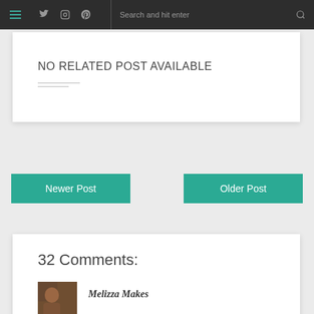Navigation bar with hamburger menu, social icons (Twitter, Instagram, Pinterest), search bar
NO RELATED POST AVAILABLE
Newer Post
Older Post
32 Comments:
Melizza Makes